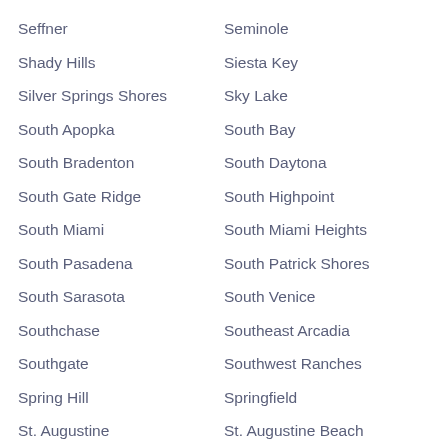Seffner
Seminole
Shady Hills
Siesta Key
Silver Springs Shores
Sky Lake
South Apopka
South Bay
South Bradenton
South Daytona
South Gate Ridge
South Highpoint
South Miami
South Miami Heights
South Pasadena
South Patrick Shores
South Sarasota
South Venice
Southchase
Southeast Arcadia
Southgate
Southwest Ranches
Spring Hill
Springfield
St. Augustine
St. Augustine Beach
St. Augustine Shores
St. Augustine South